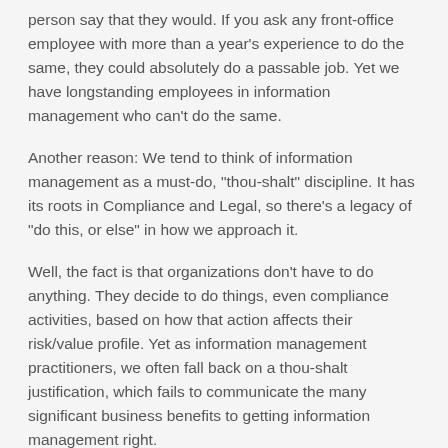person say that they would. If you ask any front-office employee with more than a year's experience to do the same, they could absolutely do a passable job. Yet we have longstanding employees in information management who can't do the same.
Another reason: We tend to think of information management as a must-do, "thou-shalt" discipline. It has its roots in Compliance and Legal, so there's a legacy of "do this, or else" in how we approach it.
Well, the fact is that organizations don't have to do anything. They decide to do things, even compliance activities, based on how that action affects their risk/value profile. Yet as information management practitioners, we often fall back on a thou-shalt justification, which fails to communicate the many significant business benefits to getting information management right.
Looking at it another way, we have to do Sales and Product Development, but you don't see those departments relying on thou-shalt arguments to get support: they articulate their